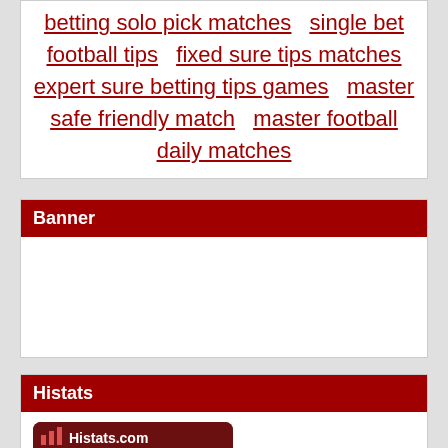betting solo pick matches  single bet football tips  fixed sure tips matches  expert sure betting tips games  master safe friendly match  master football daily matches
Banner
Histats
[Figure (infographic): Histats.com widget showing Pag. today: 1 234 and Online: 25]